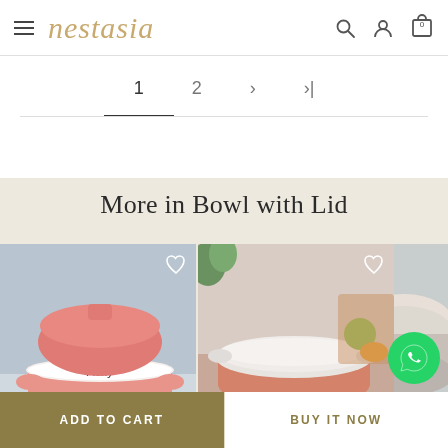nestasia
[Figure (screenshot): Pagination bar showing pages 1 (active/underlined), 2, next arrow, last arrow]
More in Bowl with Lid
[Figure (photo): Pink ceramic bowl with lid labeled Fluffy on blue background]
[Figure (photo): Pink/salmon colored bowl with white silicone lid on beige background]
[Figure (photo): Partially visible white/gray bowl on table]
ADD TO CART    BUY IT NOW